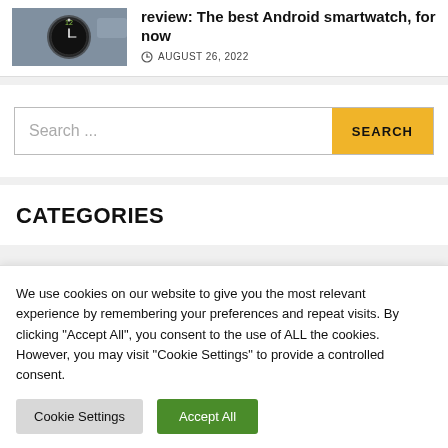[Figure (photo): Smartwatch on a surface, partial view showing clock face]
review: The best Android smartwatch, for now
AUGUST 26, 2022
Search ...
CATEGORIES
We use cookies on our website to give you the most relevant experience by remembering your preferences and repeat visits. By clicking "Accept All", you consent to the use of ALL the cookies. However, you may visit "Cookie Settings" to provide a controlled consent.
Cookie Settings
Accept All